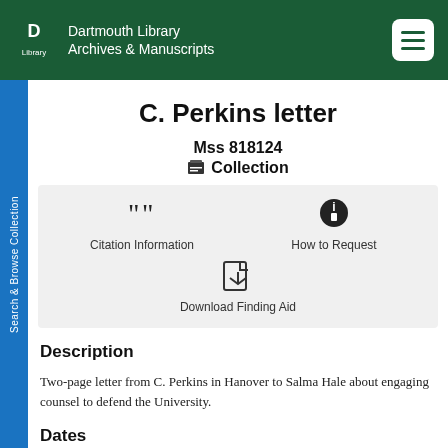Dartmouth Library Archives & Manuscripts
C. Perkins letter
Mss 818124
Collection
[Figure (infographic): Action buttons panel with Citation Information, How to Request, and Download Finding Aid options]
Description
Two-page letter from C. Perkins in Hanover to Salma Hale about engaging counsel to defend the University.
Dates